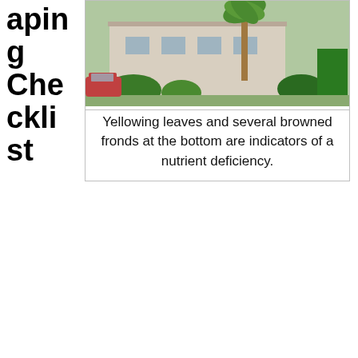aping
g
Checklist
[Figure (photo): Photo of a building exterior with a palm tree, shrubs, and parked cars visible in front. The scene shows landscaping around the building.]
Yellowing leaves and several browned fronds at the bottom are indicators of a nutrient deficiency.
Observe the site several times during the day to see how much sun it gets
Contact 811 to find your utilities
Perform a soil test via the UF/IFAS soil testing lab ($10 per test)
Research intended plant’s needs (pH, light/shade needs, soil drainage)